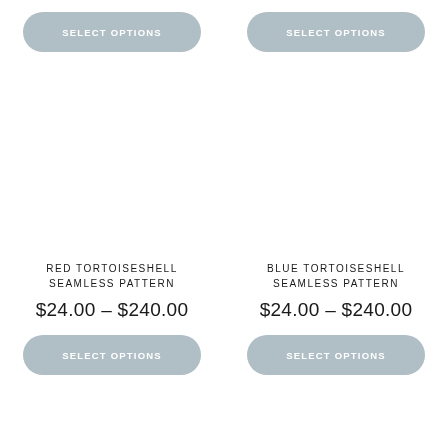[Figure (other): SELECT OPTIONS button (top left) — rounded rectangle, grey/blue background]
[Figure (other): SELECT OPTIONS button (top right) — rounded rectangle, grey/blue background]
[Figure (other): Empty white product image area for Red Tortoiseshell Seamless Pattern]
[Figure (other): Empty white product image area for Blue Tortoiseshell Seamless Pattern]
RED TORTOISESHELL SEAMLESS PATTERN
BLUE TORTOISESHELL SEAMLESS PATTERN
$24.00 – $240.00
$24.00 – $240.00
[Figure (other): SELECT OPTIONS button (bottom left) — rounded rectangle, grey/blue background]
[Figure (other): SELECT OPTIONS button (bottom right) — rounded rectangle, grey/blue background]